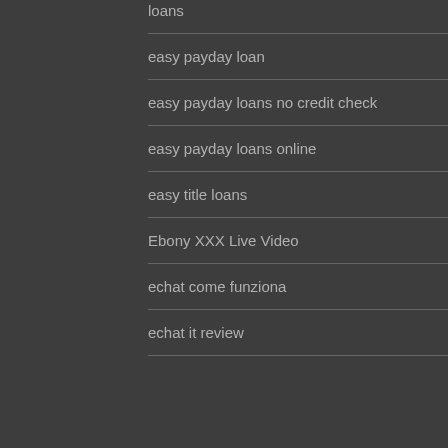loans
easy payday loan
easy payday loans no credit check
easy payday loans online
easy title loans
Ebony XXX Live Video
echat come funziona
echat it review